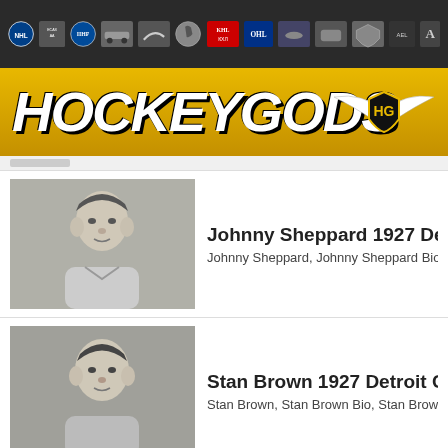[Figure (screenshot): HockeyGods website navigation bar with multiple hockey league logos on dark background]
[Figure (logo): HockeyGods logo in bold italic white text on gold/yellow banner with winged HG shield emblem]
Johnny Sheppard 1927 Detroit Cougars — Johnny Sheppard, Johnny Sheppard Bio, Johnny Shepp...
Stan Brown 1927 Detroit Cougars — Stan Brown, Stan Brown Bio, Stan Brown Biography, J...
Duke Keats 1927 Detroit Cougars — Duke Keats, Duke Keats Bio, Duke Keats Biography, G...
Milt Halliday 1927 Ottawa Senators — Milt Halliday, Milt Halliday – Samuel Milton Halliday, Sa...